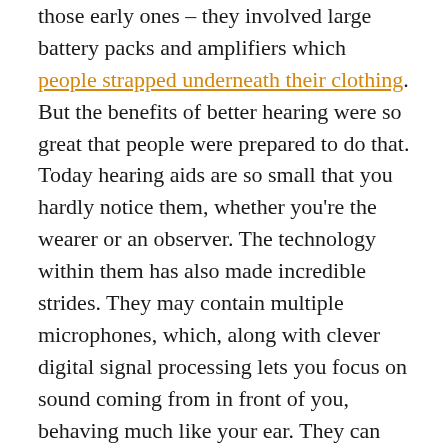those early ones – they involved large battery packs and amplifiers which people strapped underneath their clothing. But the benefits of better hearing were so great that people were prepared to do that. Today hearing aids are so small that you hardly notice them, whether you're the wearer or an observer. The technology within them has also made incredible strides. They may contain multiple microphones, which, along with clever digital signal processing lets you focus on sound coming from in front of you, behaving much like your ear. They can also adjust the way they amplify sound to cope with different locations, from noisy streets to the office, restaurants and the home. The amount of technology which has been squeezed into such a small space is incredible, surpassing other high tech products like tablets and